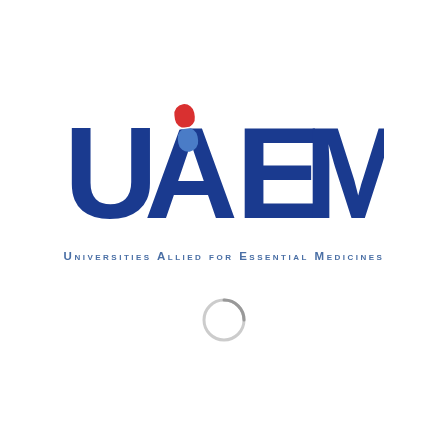[Figure (logo): UAEM logo: large dark blue letters U, A, E, M with a red-and-blue capsule pill icon inside the letter A. Below the letters, the full name 'Universities Allied for Essential Medicines' in spaced small-caps dark blue text. Below that, a light gray loading spinner circle arc.]